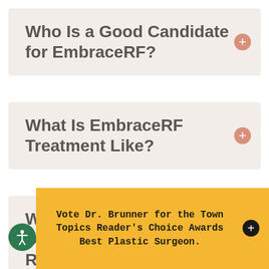Who Is a Good Candidate for EmbraceRF?
What Is EmbraceRF Treatment Like?
What Can I Expect During EmbraceRF Recovery?
Vote Dr. Brunner for the Town Topics Reader's Choice Awards Best Plastic Surgeon.